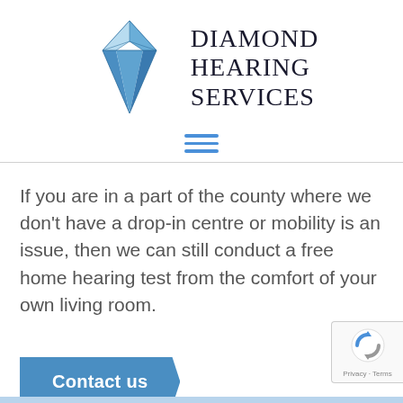[Figure (logo): Diamond Hearing Services logo with a blue diamond gem graphic on the left and the text DIAMOND HEARING SERVICES in serif font on the right]
[Figure (other): Hamburger menu icon — three horizontal blue lines]
If you are in a part of the county where we don't have a drop-in centre or mobility is an issue, then we can still conduct a free home hearing test from the comfort of your own living room.
Contact us
[Figure (other): reCAPTCHA badge with Privacy - Terms text]